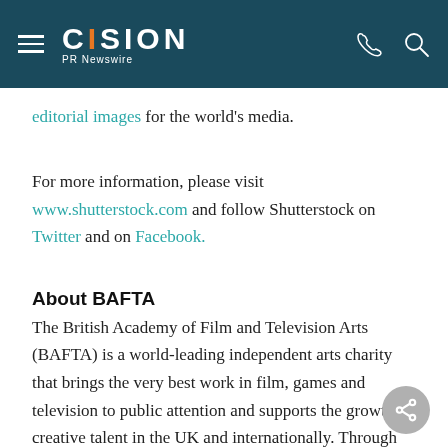CISION PR Newswire
editorial images for the world's media.
For more information, please visit www.shutterstock.com and follow Shutterstock on Twitter and on Facebook.
About BAFTA
The British Academy of Film and Television Arts (BAFTA) is a world-leading independent arts charity that brings the very best work in film, games and television to public attention and supports the growth of creative talent in the UK and internationally. Through its Awards ceremonies and